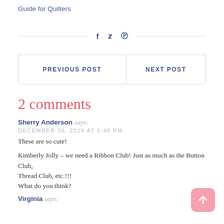Guide for Quilters
f  ✦  ⊕
| PREVIOUS POST | NEXT POST |
| --- | --- |
2 comments
Sherry Anderson says:
DECEMBER 20, 2016 AT 5:46 PM
These are so cute!
Kimberly Jolly – we need a Ribbon Club! Just as much as the Button Club, Thread Club, etc.!!!
What do you think?
Virginia says: